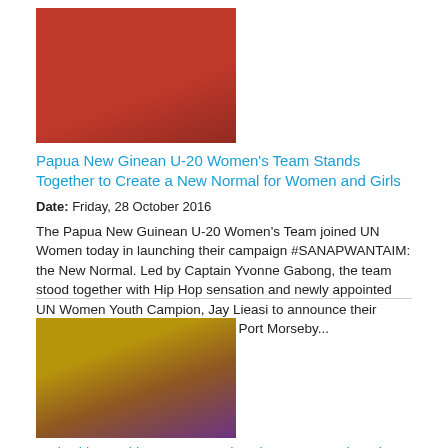[Figure (photo): Women in red sports uniforms standing together]
Papua New Ginean U-20 Women's Team Stands Together to Create a New Normal for Women and Girls
Date: Friday, 28 October 2016
The Papua New Guinean U-20 Women's Team joined UN Women today in launching their campaign #SANAPWANTAIM: the New Normal. Led by Captain Yvonne Gabong, the team stood together with Hip Hop sensation and newly appointed UN Women Youth Campion, Jay Lieasi to announce their vision of new normal in the city of Port Morseby...
[Figure (photo): People at a market or bus stop, one person in yellow shirt]
Authorities making Port Moresby's bus stops and markets safer for